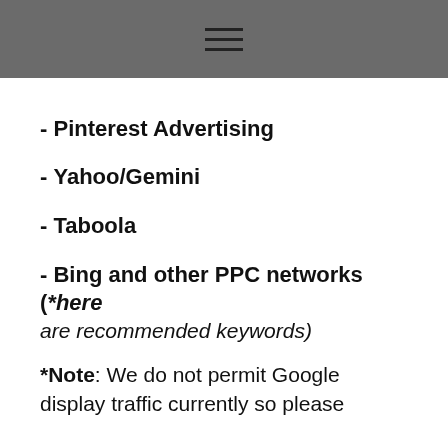≡
- Pinterest Advertising
- Yahoo/Gemini
- Taboola
- Bing and other PPC networks (*here are recommended keywords)
*Note: We do not permit Google display traffic currently so please